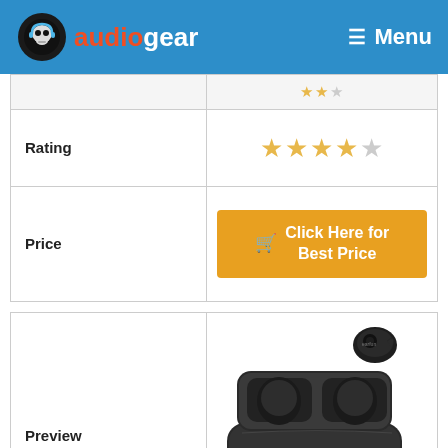AudioGear | Menu
|  |  |
| --- | --- |
| Rating | ★★★★☆ |
| Price | Click Here for Best Price |
| Preview |  |
| --- | --- |
| Preview | [earbuds product image] |